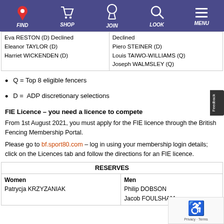FIND  SHOP  JOIN  LOOK  MENU
| Women | Men |
| --- | --- |
| Eva RESTON (D) Declined
Eleanor TAYLOR (D)
Harriet WICKENDEN (D) | Declined
Piero STEINER (D)
Louis TAIWO-WILLIAMS (Q)
Joseph WALMSLEY (Q) |
Q = Top 8 eligible fencers
D =  ADP discretionary selections
FIE Licence – you need a licence to compete
From 1st August 2021, you must apply for the FIE licence through the British Fencing Membership Portal.
Please go to bf.sport80.com – log in using your membership login details; click on the Licences tab and follow the directions for an FIE licence.
| RESERVES |
| --- |
| Women | Men |
| Patrycja KRZYZANIAK | Philip DOBSON
Jacob FOULSHAM |